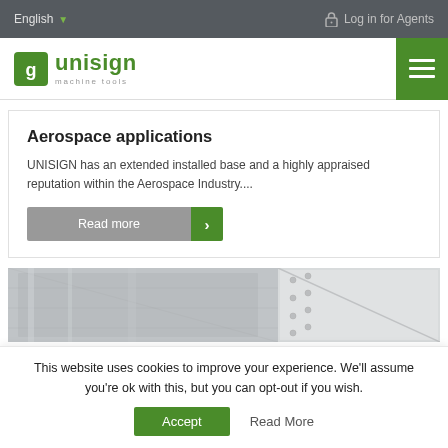English   Log in for Agents
[Figure (logo): Unisign machine tools logo with green icon and text]
Aerospace applications
UNISIGN has an extended installed base and a highly appraised reputation within the Aerospace Industry....
Read more
[Figure (photo): Industrial machinery parts in silver/grey metal with bolted components]
This website uses cookies to improve your experience. We'll assume you're ok with this, but you can opt-out if you wish.
Accept   Read More